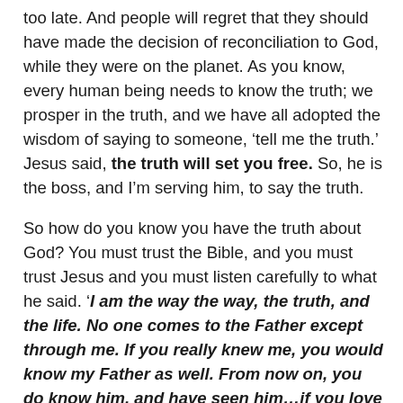too late.  And people will regret that they should have made the decision of reconciliation to God, while they were on the planet.  As you know, every human being needs to know the truth; we prosper in the truth, and we have all adopted the wisdom of saying to someone, 'tell me the truth.'  Jesus said, the truth will set you free. So, he is the boss, and I'm serving him, to say the truth.
So how do you know you have the truth about God?  You must trust the Bible, and you must trust Jesus and you must listen carefully to what he said. 'I am the way the way, the truth, and the life. No one comes to the Father except through me. If you really knew me, you would know my Father as well. From now on, you do know him, and have seen him…if you love me, you'll obey what I command. And I will ask the Father, and he will give you another Counsellor to be with you forever – the spirit of truth – The Holy Spirit. (John 14:6-15) NIV
We know that Jesus spoke the truth because God was